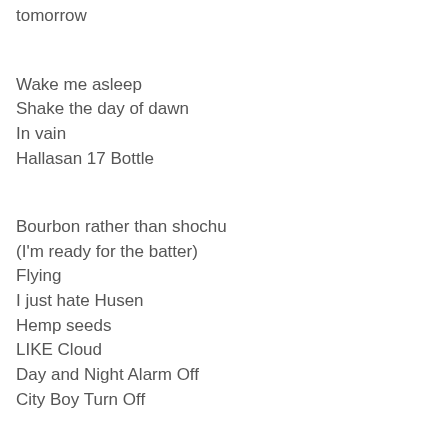tomorrow
Wake me asleep
Shake the day of dawn
In vain
Hallasan 17 Bottle
Bourbon rather than shochu
(I'm ready for the batter)
Flying
I just hate Husen
Hemp seeds
LIKE Cloud
Day and Night Alarm Off
City Boy Turn Off
TIME Flies and We Know How long
Take it Easy Boy Hell NO
Day and Night Alarm Off